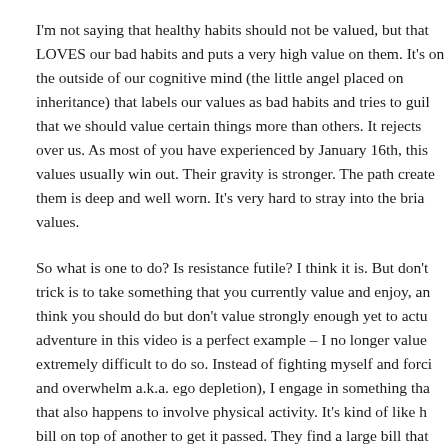I'm not saying that healthy habits should not be valued, but that LOVES our bad habits and puts a very high value on them. It's on the outside of our cognitive mind (the little angel placed on inheritance) that labels our values as bad habits and tries to guil that we should value certain things more than others. It rejects over us. As most of you have experienced by January 16th, this values usually win out. Their gravity is stronger. The path create them is deep and well worn. It's very hard to stray into the bria values.
So what is one to do? Is resistance futile? I think it is. But don't trick is to take something that you currently value and enjoy, an think you should do but don't value strongly enough yet to actu adventure in this video is a perfect example – I no longer value extremely difficult to do so. Instead of fighting myself and forci and overwhelm a.k.a. ego depletion), I engage in something tha that also happens to involve physical activity. It's kind of like h bill on top of another to get it passed. They find a large bill that